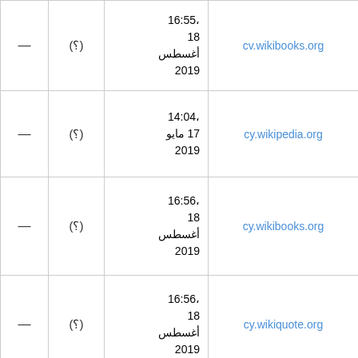| — | (؟) | ،16:55
18
أغسطس
2019 | cv.wikibooks.org |
| — | (؟) | ،14:04
17 مايو
2019 | cy.wikipedia.org |
| — | (؟) | ،16:56
18
أغسطس
2019 | cy.wikibooks.org |
| — | (؟) | ،16:56
18
أغسطس
2019 | cy.wikiquote.org |
| — | (؟) | ،16:55
18 |  |